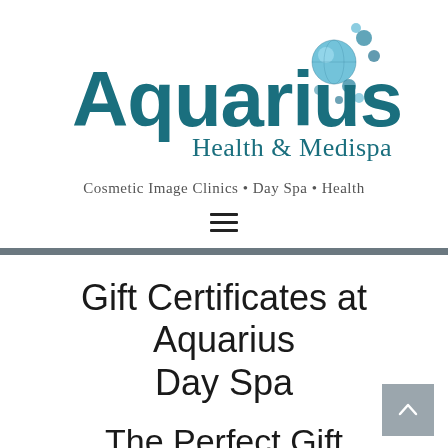[Figure (logo): Aquarius Health & Medispa logo with teal/blue bubbles and stylized text]
Cosmetic Image Clinics • Day Spa • Health
[Figure (other): Hamburger menu icon (three horizontal lines)]
Gift Certificates at Aquarius Day Spa
The Perfect Gift